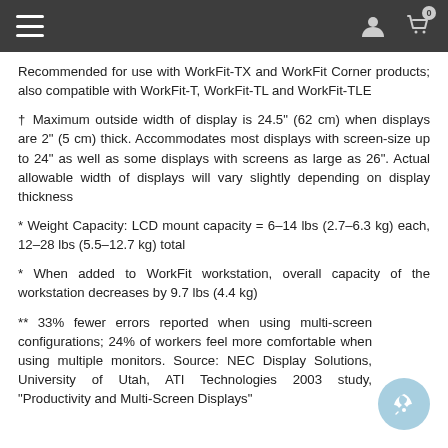Navigation header bar with menu, user, and cart icons
Recommended for use with WorkFit-TX and WorkFit Corner products;  also compatible with WorkFit-T, WorkFit-TL and WorkFit-TLE
† Maximum outside width of display is 24.5" (62 cm) when displays are 2" (5 cm) thick. Accommodates most displays with screen-size up to 24" as well as some displays with screens as large as 26". Actual allowable width of displays will vary slightly depending on display thickness
* Weight Capacity: LCD mount capacity = 6–14 lbs (2.7–6.3 kg) each, 12–28 lbs (5.5–12.7 kg) total
* When added to WorkFit workstation, overall capacity of the workstation decreases by 9.7 lbs (4.4 kg)
** 33% fewer errors reported when using multi-screen configurations; 24% of workers feel more comfortable when using multiple monitors. Source: NEC Display Solutions, University of Utah, ATI Technologies 2003 study, "Productivity and Multi-Screen Displays"